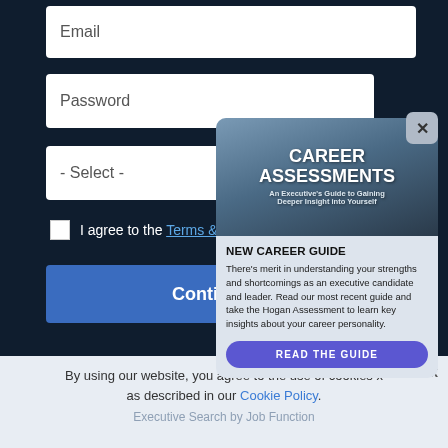Email
Password
- Select -
I agree to the Terms & Conditions
Continue
[Figure (screenshot): Career Assessments guide image showing text: CAREER ASSESSMENTS An Executive's Guide to Gaining Deeper Insight into Yourself]
NEW CAREER GUIDE
There's merit in understanding your strengths and shortcomings as an executive candidate and leader. Read our most recent guide and take the Hogan Assessment to learn key insights about your career personality.
READ THE GUIDE
By using our website, you agree to the use of cookies as described in our Cookie Policy.
Executive Search by Job Function